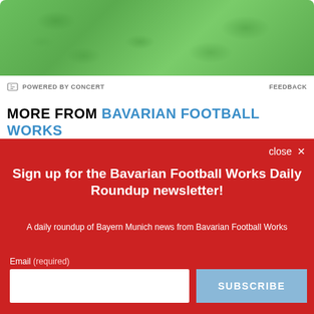[Figure (photo): Green textured banner image at top of page]
POWERED BY CONCERT
FEEDBACK
MORE FROM BAVARIAN FOOTBALL WORKS
Sign up for the Bavarian Football Works Daily Roundup newsletter!
A daily roundup of Bayern Munich news from Bavarian Football Works
Email (required)
SUBSCRIBE
By submitting your email, you agree to our Terms and Privacy Notice. You can opt out at any time. This site is protected by reCAPTCHA and the Google Privacy Policy and Terms of Service apply.